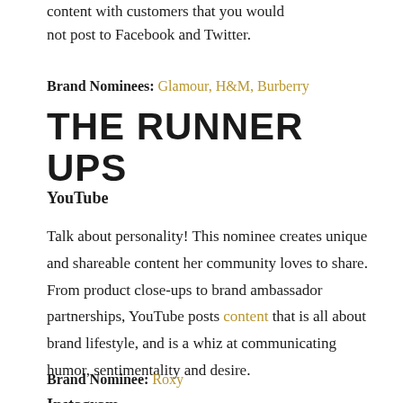content with customers that you would not post to Facebook and Twitter.
Brand Nominees: Glamour, H&M, Burberry
THE RUNNER UPS
YouTube
Talk about personality! This nominee creates unique and shareable content her community loves to share. From product close-ups to brand ambassador partnerships, YouTube posts content that is all about brand lifestyle, and is a whiz at communicating humor, sentimentality and desire.
Brand Nominee: Roxy
Instagram